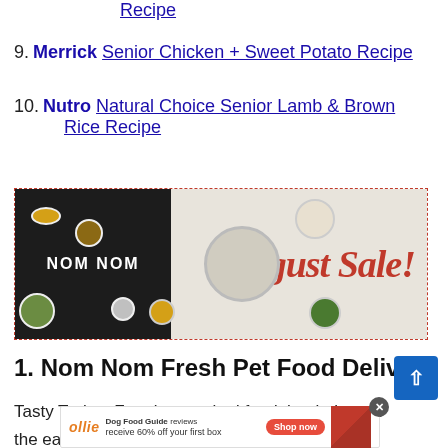Recipe
9. Merrick Senior Chicken + Sweet Potato Recipe
10. Nutro Natural Choice Senior Lamb & Brown Rice Recipe
[Figure (photo): Nom Nom August Sale advertisement banner showing various food bowls on a white background with red italic 'August Sale!' text and black Nom Nom logo area on left.]
1. Nom Nom Fresh Pet Food Delivery
Tasty Turkey Fare is a cooked food that balances the ease of kibble with the nutrition of a raw food diet. It uses just six high quality ingredients to create a balanced m...cles,